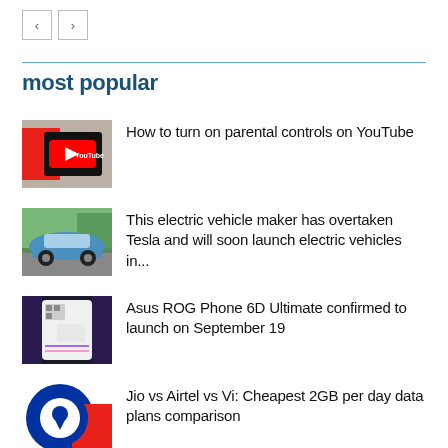< >
most popular
How to turn on parental controls on YouTube
This electric vehicle maker has overtaken Tesla and will soon launch electric vehicles in...
Asus ROG Phone 6D Ultimate confirmed to launch on September 19
Jio vs Airtel vs Vi: Cheapest 2GB per day data plans comparison